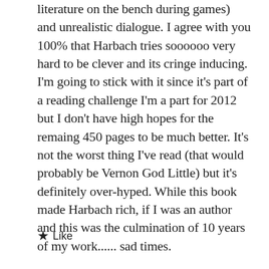literature on the bench during games) and unrealistic dialogue. I agree with you 100% that Harbach tries soooooo very hard to be clever and its cringe inducing. I'm going to stick with it since it's part of a reading challenge I'm a part for 2012 but I don't have high hopes for the remaing 450 pages to be much better. It's not the worst thing I've read (that would probably be Vernon God Little) but it's definitely over-hyped. While this book made Harbach rich, if I was an author and this was the culmination of 10 years of my work...... sad times.
★ Like